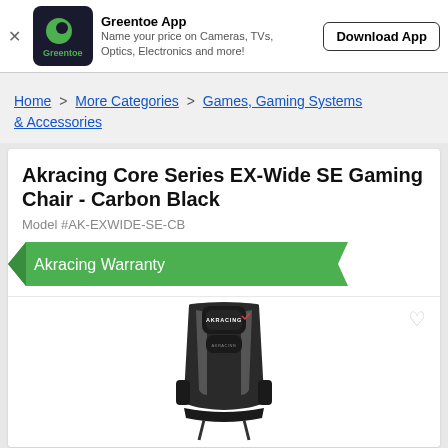[Figure (screenshot): Greentoe App banner ad with logo (green circle on dark background), app name, description and Download App button]
Home > More Categories > Games, Gaming Systems & Accessories
Akracing Core Series EX-Wide SE Gaming Chair - Carbon Black
Model #AK-EXWIDE-SE-CB
Akracing Warranty
[Figure (photo): AKRacing gaming chair in carbon black color, front view, with headrest pillow and AKRACING branding on headrest]